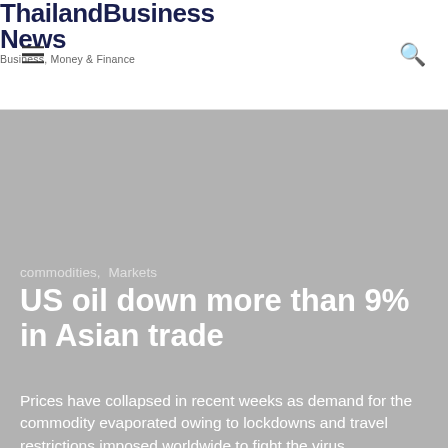Thailand Business News — Business, Money & Finance
[Figure (photo): Gray hero image background behind article headline area]
commodities,  Markets
US oil down more than 9% in Asian trade
Prices have collapsed in recent weeks as demand for the commodity evaporated owing to lockdowns and travel restrictions imposed worldwide to fight the virus